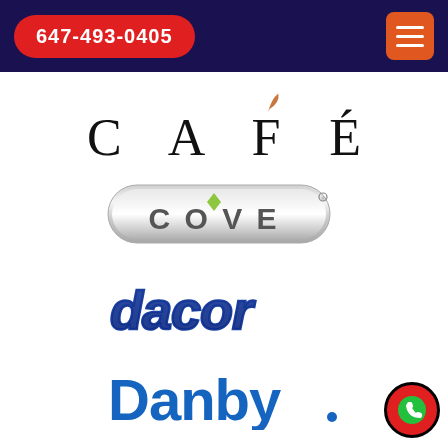647-493-0405
[Figure (logo): CAFÉ brand logo with stylized accent mark over the É, black letters on white background]
[Figure (logo): COVE brand logo in metallic silver pill-shaped badge with green diamond accent above the V]
[Figure (logo): dacor brand logo in italic blue outlined text with rounded stylized letterforms]
[Figure (logo): Danby brand logo in bold blue letters with a small dot after the y]